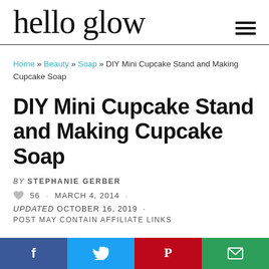hello glow
Home » Beauty » Soap » DIY Mini Cupcake Stand and Making Cupcake Soap
DIY Mini Cupcake Stand and Making Cupcake Soap
BY STEPHANIE GERBER
56 · MARCH 4, 2014 ·
UPDATED OCTOBER 16, 2019 ·
POST MAY CONTAIN AFFILIATE LINKS
f · t · P · email